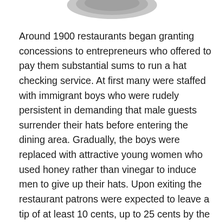[Figure (illustration): Partial image of a hat (bottom portion visible) on white background]
Around 1900 restaurants began granting concessions to entrepreneurs who offered to pay them substantial sums to run a hat checking service. At first many were staffed with immigrant boys who were rudely persistent in demanding that male guests surrender their hats before entering the dining area. Gradually, the boys were replaced with attractive young women who used honey rather than vinegar to induce men to give up their hats. Upon exiting the restaurant patrons were expected to leave a tip of at least 10 cents, up to 25 cents by the 1930s.
Concession owners paid thousands of dollars a year for the privilege of running a hat check service and, often, of supplying washroom attendants as well. In nightclubs they